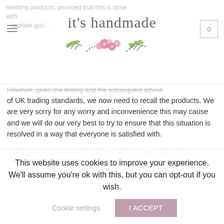it's handmade — website header with logo and navigation
teething products, provided that this is done with appropriate guid...
However, given the testing and the subsequent advice of UK trading standards, we now need to recall the products. We are very sorry for any worry and inconvenience this may cause and we will do our very best to try to ensure that this situation is resolved in a way that everyone is satisfied with.
6. Why are you recalling when others are still selling teething products?
We cannot comment on individual retailers, but perhaps
This website uses cookies to improve your experience. We'll assume you're ok with this, but you can opt-out if you wish.